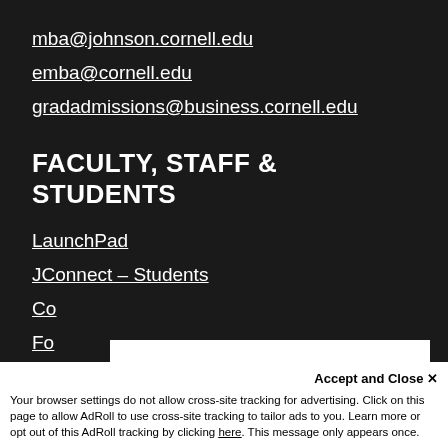mba@johnson.cornell.edu
emba@cornell.edu
gradadmissions@business.cornell.edu
FACULTY, STAFF & STUDENTS
LaunchPad
JConnect – Students
Co
Fo
W
P
At Cornell we value your privacy. To view our university's privacy practices, including information use and third parties, visit University Privacy.
Thanks for letting me know
Accept and Close ✕
Your browser settings do not allow cross-site tracking for advertising. Click on this page to allow AdRoll to use cross-site tracking to tailor ads to you. Learn more or opt out of this AdRoll tracking by clicking here. This message only appears once.